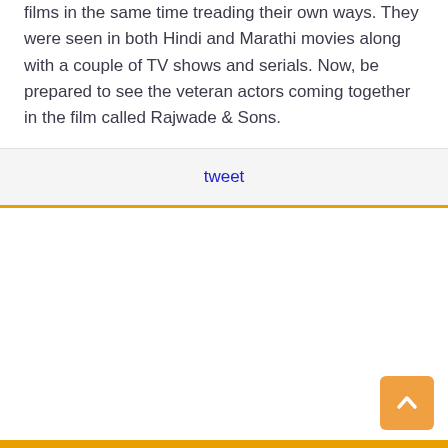films in the same time treading their own ways. They were seen in both Hindi and Marathi movies along with a couple of TV shows and serials. Now, be prepared to see the veteran actors coming together in the film called Rajwade & Sons.
tweet
[Figure (other): Back to top button — orange rounded square with upward-pointing chevron/caret arrow]